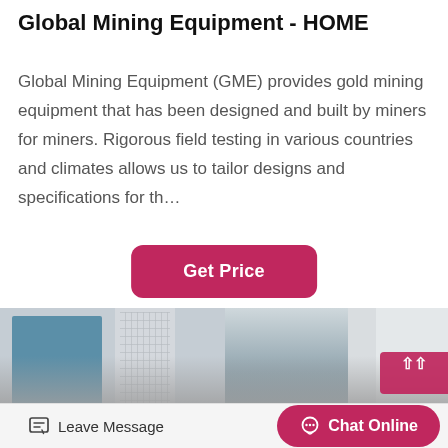Global Mining Equipment - HOME
Global Mining Equipment (GME) provides gold mining equipment that has been designed and built by miners for miners. Rigorous field testing in various countries and climates allows us to tailor designs and specifications for th…
[Figure (other): A button labeled 'Get Price' with pink/crimson background and white bold text, rounded rectangle shape.]
[Figure (photo): Photograph showing industrial mining equipment in the foreground with buildings in the background, including a glass-facade office building and a factory-style structure. A pink branded overlay is visible in the top-right corner.]
Leave Message
Chat Online